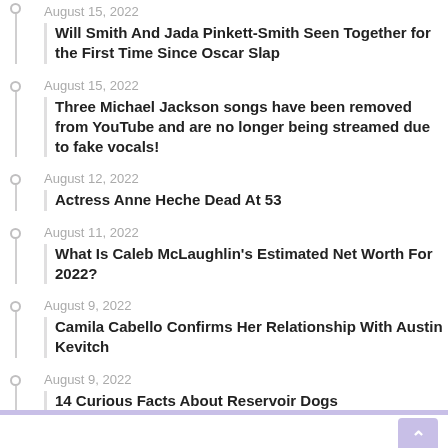August 15, 2022 — Will Smith And Jada Pinkett-Smith Seen Together for the First Time Since Oscar Slap
August 15, 2022 — Three Michael Jackson songs have been removed from YouTube and are no longer being streamed due to fake vocals!
August 12, 2022 — Actress Anne Heche Dead At 53
August 11, 2022 — What Is Caleb McLaughlin's Estimated Net Worth For 2022?
August 9, 2022 — Camila Cabello Confirms Her Relationship With Austin Kevitch
August 9, 2022 — 14 Curious Facts About Reservoir Dogs
August 9, 2022 — 16 Celebrities Who Have Been Arrested